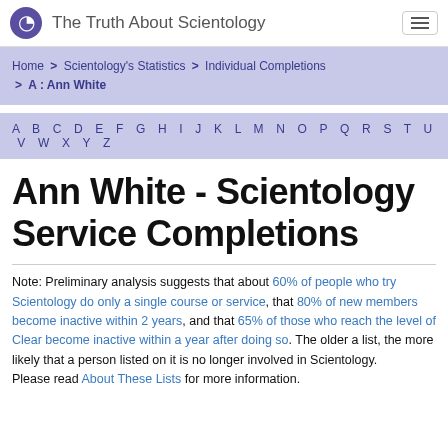The Truth About Scientology
Home > Scientology's Statistics > Individual Completions > A : Ann White
A B C D E F G H I J K L M N O P Q R S T U V W X Y Z
Ann White - Scientology Service Completions
Note: Preliminary analysis suggests that about 60% of people who try Scientology do only a single course or service, that 80% of new members become inactive within 2 years, and that 65% of those who reach the level of Clear become inactive within a year after doing so. The older a list, the more likely that a person listed on it is no longer involved in Scientology.
Please read About These Lists for more information.